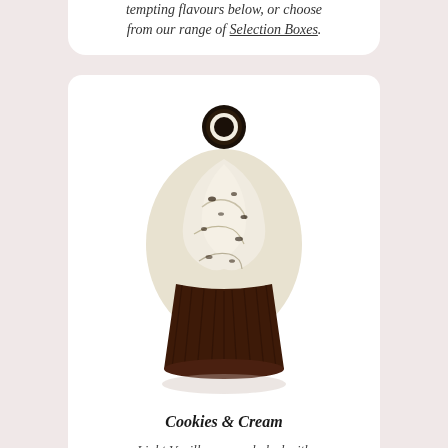tempting flavours below, or choose from our range of Selection Boxes.
[Figure (photo): A cupcake with swirled cream-colored Oreo crumble frosting in a dark chocolate brown cupcake liner, topped with a miniature Oreo cookie standing upright on top.]
Cookies & Cream
Light Vanilla sponge baked with an Oreo Cookie and chocolate chips inside, topped with fluffy Oreo Crumble frosting and a miniature Oreo.